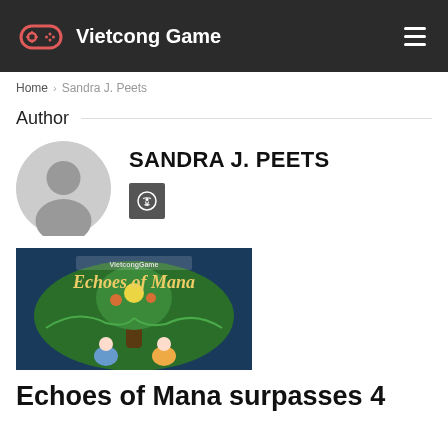Vietcong Game
Home > Sandra J. Peets
Author
[Figure (illustration): Default grey user avatar placeholder circle]
SANDRA J. PEETS
[Figure (logo): WordPress icon button (grey square with heart/WordPress logo)]
[Figure (photo): Echoes of Mana game cover art showing a glowing tree with fantasy characters and the title 'Echoes of Mana' in ornate lettering]
Echoes of Mana surpasses 4